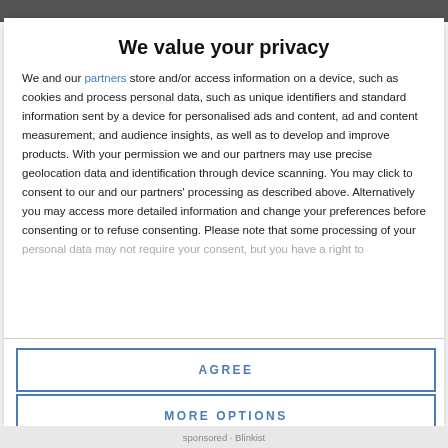We value your privacy
We and our partners store and/or access information on a device, such as cookies and process personal data, such as unique identifiers and standard information sent by a device for personalised ads and content, ad and content measurement, and audience insights, as well as to develop and improve products. With your permission we and our partners may use precise geolocation data and identification through device scanning. You may click to consent to our and our partners' processing as described above. Alternatively you may access more detailed information and change your preferences before consenting or to refuse consenting. Please note that some processing of your personal data may not require your consent, but you have a right to
AGREE
MORE OPTIONS
sponsored · Blinkist